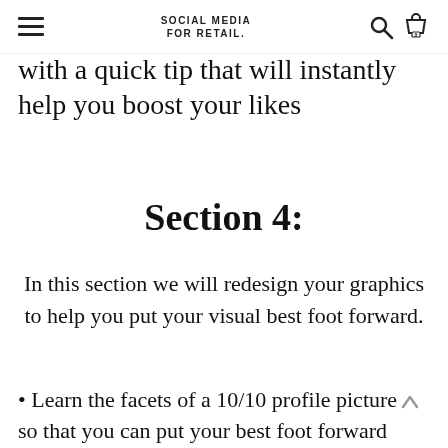SOCIAL MEDIA FOR RETAIL.
with a quick tip that will instantly help you boost your likes
Section 4:
In this section we will redesign your graphics to help you put your visual best foot forward.
• Learn the facets of a 10/10 profile picture so that you can put your best foot forward